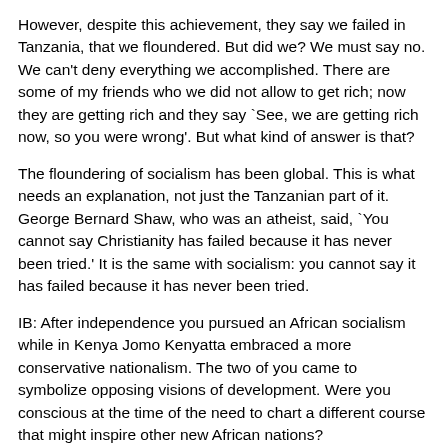However, despite this achievement, they say we failed in Tanzania, that we floundered. But did we? We must say no. We can't deny everything we accomplished. There are some of my friends who we did not allow to get rich; now they are getting rich and they say `See, we are getting rich now, so you were wrong'. But what kind of answer is that?
The floundering of socialism has been global. This is what needs an explanation, not just the Tanzanian part of it. George Bernard Shaw, who was an atheist, said, `You cannot say Christianity has failed because it has never been tried.' It is the same with socialism: you cannot say it has failed because it has never been tried.
IB: After independence you pursued an African socialism while in Kenya Jomo Kenyatta embraced a more conservative nationalism. The two of you came to symbolize opposing visions of development. Were you conscious at the time of the need to chart a different course that might inspire other new African nations?
MJN: Anti-colonialism was a nationalist movement. For me